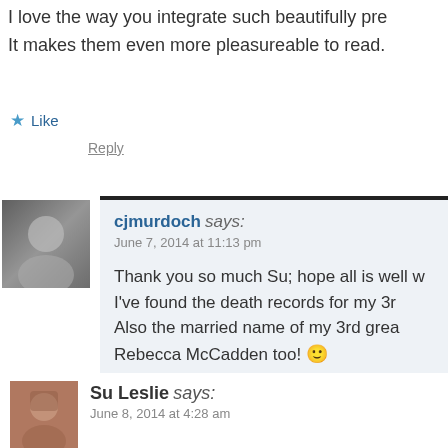I love the way you integrate such beautifully pre... It makes them even more pleasureable to read.
Like
Reply
cjmurdoch says:
June 7, 2014 at 11:13 pm
Thank you so much Su; hope all is well w... I've found the death records for my 3r... Also the married name of my 3rd grea... Rebecca McCadden too! 🙂
Like
Reply
Su Leslie says:
June 8, 2014 at 4:28 am